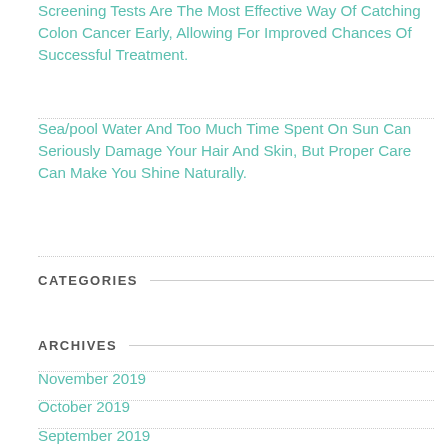Screening Tests Are The Most Effective Way Of Catching Colon Cancer Early, Allowing For Improved Chances Of Successful Treatment.
Sea/pool Water And Too Much Time Spent On Sun Can Seriously Damage Your Hair And Skin, But Proper Care Can Make You Shine Naturally.
CATEGORIES
ARCHIVES
November 2019
October 2019
September 2019